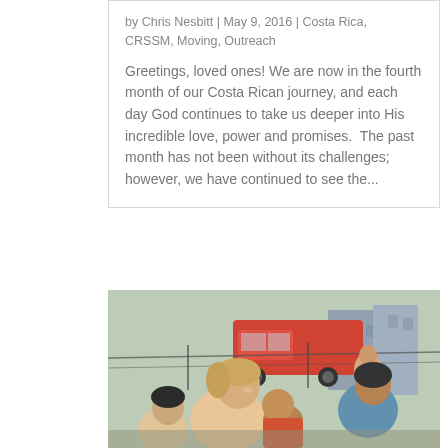by Chris Nesbitt | May 9, 2016 | Costa Rica, CRSSM, Moving, Outreach
Greetings, loved ones! We are now in the fourth month of our Costa Rican journey, and each day God continues to take us deeper into His incredible love, power and promises.  The past month has not been without its challenges; however, we have continued to see the...
[Figure (photo): Outdoor photo of a woman smiling and interacting with children, with a red vehicle and buildings visible in the background. The scene appears to be a community outreach event in Costa Rica.]